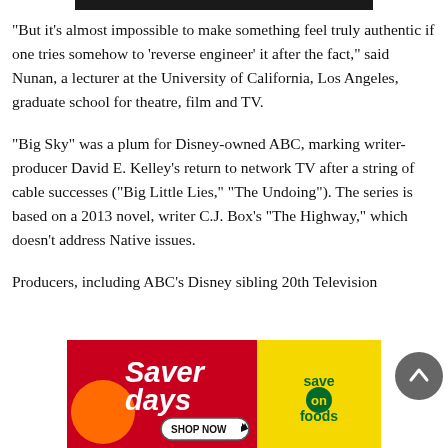“But it’s almost impossible to make something feel truly authentic if one tries somehow to ‘reverse engineer’ it after the fact,” said Nunan, a lecturer at the University of California, Los Angeles, graduate school for theatre, film and TV.
“Big Sky” was a plum for Disney-owned ABC, marking writer-producer David E. Kelley’s return to network TV after a string of cable successes (“Big Little Lies,” “The Undoing”). The series is based on a 2013 novel, writer C.J. Box’s “The Highway,” which doesn’t address Native issues.
Producers, including ABC’s Disney sibling 20th Television
[Figure (illustration): Advertisement banner for Save-On Foods 'Saver Days' promotion with red left panel showing 'Saver days' text and a Shop Now button, and yellow right panel with 'save on foods' green logo text]